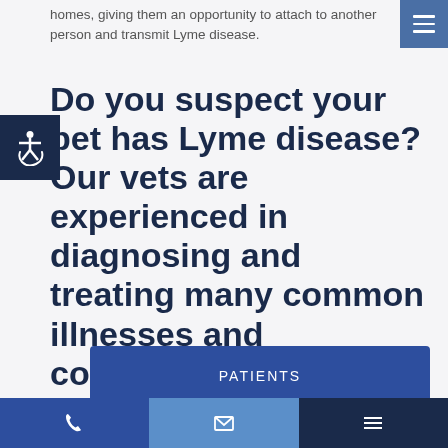homes, giving them an opportunity to attach to another person and transmit Lyme disease.
[Figure (other): Blue hamburger menu icon button in top right corner]
Do you suspect your pet has Lyme disease? Our vets are experienced in diagnosing and treating many common illnesses and conditions. Book an appointment at Veterinary Wellness Clinic Of Columbia today.
[Figure (other): Accessibility wheelchair icon in dark navy square on left side]
PATIENTS
Patients ›
Phone | Email | Menu